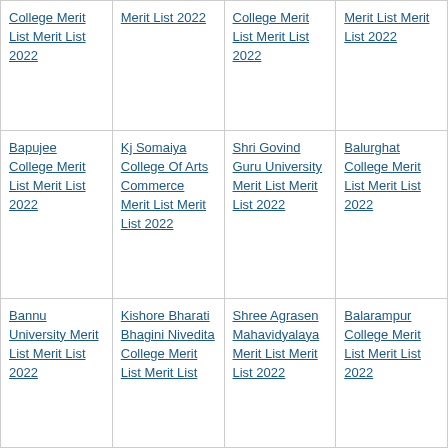College Merit List Merit List 2022
Merit List 2022
College Merit List Merit List 2022
Merit List Merit List 2022
Bapujee College Merit List Merit List 2022
Kj Somaiya College Of Arts Commerce Merit List Merit List 2022
Shri Govind Guru University Merit List Merit List 2022
Balurghat College Merit List Merit List 2022
Bannu University Merit List Merit List 2022
Kishore Bharati Bhagini Nivedita College Merit List Merit List
Shree Agrasen Mahavidyalaya Merit List Merit List 2022
Balarampur College Merit List Merit List 2022